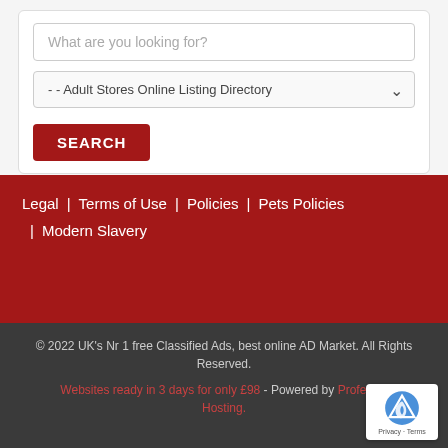[Figure (screenshot): Search form with text input placeholder 'What are you looking for?', a dropdown selector showing '- - Adult Stores Online Listing Directory', and a red SEARCH button]
Legal | Terms of Use | Policies | Pets Policies | Modern Slavery
© 2022 UK's Nr 1 free Classified Ads, best online AD Market. All Rights Reserved. Websites ready in 3 days for only £98 - Powered by Professional Hosting.